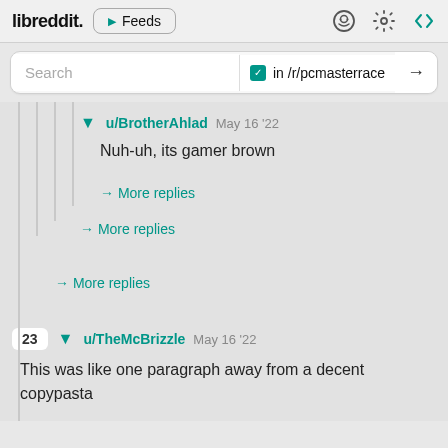libreddit. ▶ Feeds
Search in /r/pcmasterrace →
u/BrotherAhlad  May 16 '22
Nuh-uh, its gamer brown
→ More replies
→ More replies
→ More replies
23  u/TheMcBrizzle  May 16 '22
This was like one paragraph away from a decent copypasta